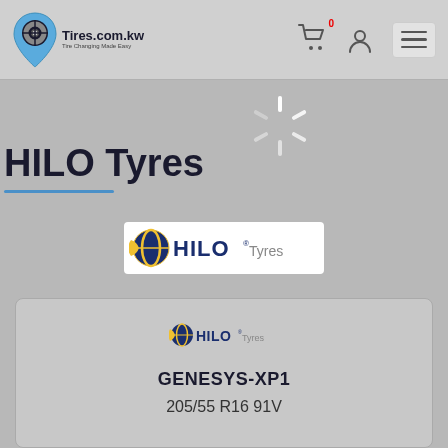Tires.com.kw - Tire Changing Made Easy
HILO Tyres
[Figure (logo): HILO Tyres brand logo — navy and yellow globe icon with HILO in blue and Tyres in grey]
[Figure (logo): HILO Tyres small brand logo on product card]
GENESYS-XP1
205/55 R16 91V